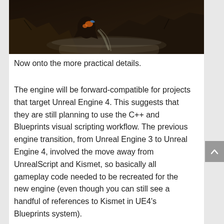[Figure (photo): Partial view of a dark cinematic scene showing a character or creature with glowing orange/blue highlights on a rocky surface with water or mist, appearing to be from a video game (Unreal Engine).]
Now onto the more practical details.
The engine will be forward-compatible for projects that target Unreal Engine 4. This suggests that they are still planning to use the C++ and Blueprints visual scripting workflow. The previous engine transition, from Unreal Engine 3 to Unreal Engine 4, involved the move away from UnrealScript and Kismet, so basically all gameplay code needed to be recreated for the new engine (even though you can still see a handful of references to Kismet in UE4's Blueprints system).